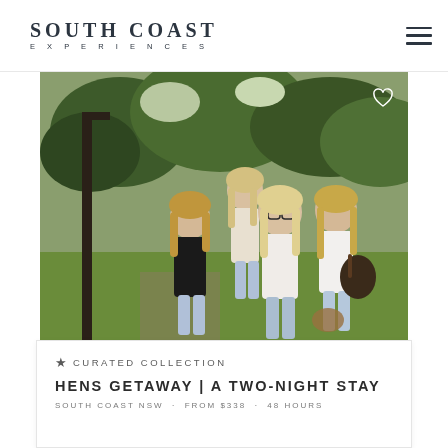SOUTH COAST EXPERIENCES
[Figure (photo): Four young women walking together outdoors in a garden or park setting with trees and greenery in the background. They are dressed casually in jeans and light tops, smiling and walking toward the camera.]
★ CURATED COLLECTION
HENS GETAWAY | A TWO-NIGHT STAY
SOUTH COAST NSW · FROM $338 · 48 HOURS